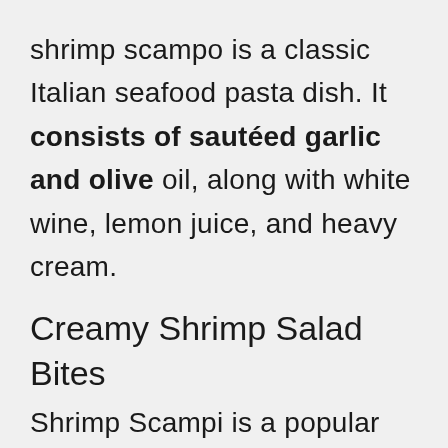shrimp scampo is a classic Italian seafood pasta dish. It consists of sautéed garlic and olive oil, along with white wine, lemon juice, and heavy cream.
Creamy Shrimp Salad Bites
Shrimp Scampi is a popular dish from Italy. It is usually served with